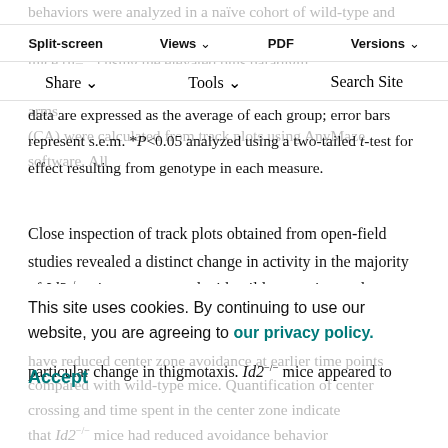behaviors were analyzed in a naive cohort of wild-type and Id2 mice [n=...] using the elevated plus paradigm. Entries (G) and time spent (H) in open arms (OA) and closed arms (CA) were calculated from track plots using AnyMaze software. All
Split-screen | Views | PDF | Versions | Share | Tools | Search Site
data are expressed as the average of each group; error bars represent s.e.m. *P<0.05 analyzed using a two-tailed t-test for effect resulting from genotype in each measure.
Close inspection of track plots obtained from open-field studies revealed a distinct change in activity in the majority of Id2−/− mice as compared with wild-type mice, and recordings obtained from the same mice at earlier time points (Fig. 1D). During this inspection, we also noted a particular change in thigmotaxis. Id2−/− mice appeared to
have reduced center zone avoidance at earlier time points compared with wild-type mice. Quantification of center crossing and time spent in the center zone indicate that Id2−/− mice had reduced avoidance behavior...
This site uses cookies. By continuing to use our website, you are agreeing to our privacy policy. Accept